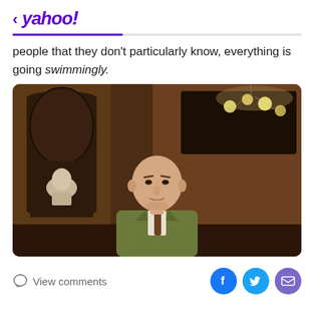< yahoo!
people that they don't particularly know, everything is going swimmingly.
[Figure (photo): A bald middle-aged man in a green/olive blazer and brown tie standing in an ornate wood-paneled room with a chandelier and classical bust sculpture in the background.]
View comments